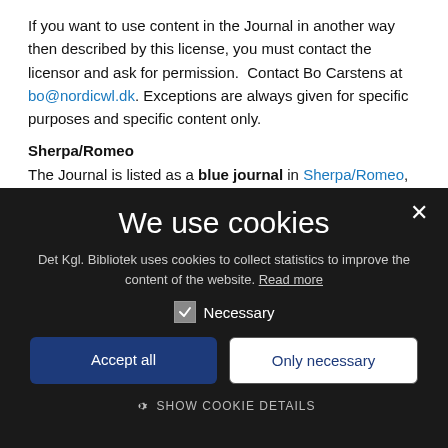If you want to use content in the Journal in another way then described by this license, you must contact the licensor and ask for permission.  Contact Bo Carstens at bo@nordicwl.dk. Exceptions are always given for specific purposes and specific content only.
Sherpa/Romeo
The Journal is listed as a blue journal in Sherpa/Romeo, meaning
[Figure (screenshot): Cookie consent dialog with dark background. Title 'We use cookies', description about Det Kgl. Bibliotek using cookies, a checked 'Necessary' checkbox, 'Accept all' and 'Only necessary' buttons, and a 'SHOW COOKIE DETAILS' link with gear icon. Close (x) button in top right.]